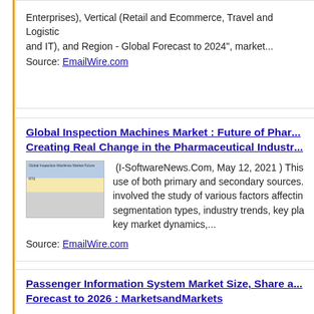Enterprises), Vertical (Retail and Ecommerce, Travel and Logistics and IT), and Region - Global Forecast to 2024", market...
Source: EmailWire.com
Global Inspection Machines Market : Future of Phar... Creating Real Change in the Pharmaceutical Industr...
[Figure (other): Thumbnail image of Global Inspection Machines Market report cover showing a world map and data table]
(I-SoftwareNews.Com, May 12, 2021 ) This... use of both primary and secondary sources. involved the study of various factors affectin segmentation types, industry trends, key pla key market dynamics,...
Source: EmailWire.com
Passenger Information System Market Size, Share a... Forecast to 2026 : MarketsandMarkets
(I-SoftwareNews.Com, May 11, 2021 ) According to a new mar... "Passenger Information System Market by Component (Solutions Board and In Station), Transportation Mode (Railways (Trains an Airways and Waterways), and Region - Global...
Source: EmailWire.com